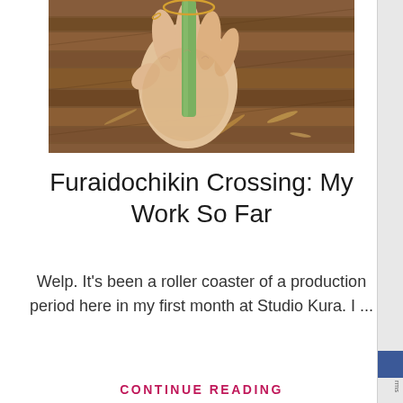[Figure (photo): A hand holding a green stick or tube, photographed from above on a brown wooden floor with scattered wood shavings.]
Furaidochikin Crossing: My Work So Far
Welp. It's been a roller coaster of a production period here in my first month at Studio Kura. I ...
CONTINUE READING